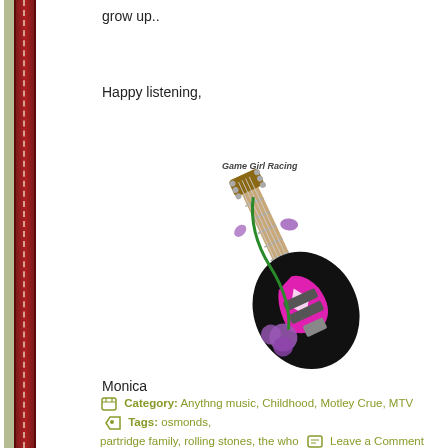grow up..
Happy listening,
[Figure (illustration): Illustrated electric guitar with black body, pink/magenta pickguard, green vine decoration, purple flowers, and text 'Game Girl Racing' at the top]
Monica
Category: Anythng music, Childhood, Motley Crue, MTV   Tags: osmonds, partridge family, rolling stones, the who   Leave a Comment